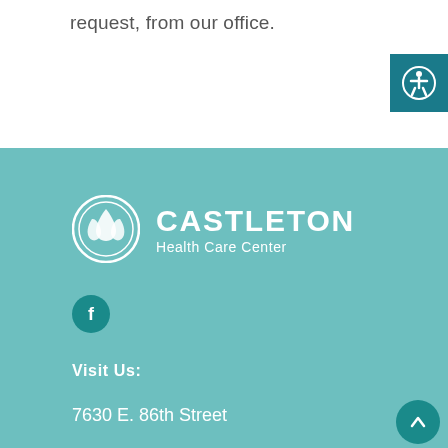request, from our office.
[Figure (logo): Accessibility icon button — dark teal square with white circle containing a human figure icon]
[Figure (logo): Castleton Health Care Center logo — white circular leaf/plant emblem with text 'CASTLETON Health Care Center' in white on teal background]
[Figure (logo): Facebook social media button — dark teal circle with white 'f' letter]
Visit Us:
7630 E. 86th Street
[Figure (other): Back to top button — dark teal circle with white upward chevron arrow]